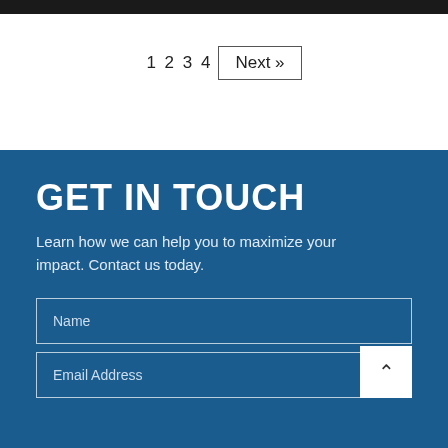1 2 3 4  Next »
GET IN TOUCH
Learn how we can help you to maximize your impact. Contact us today.
Name
Email Address